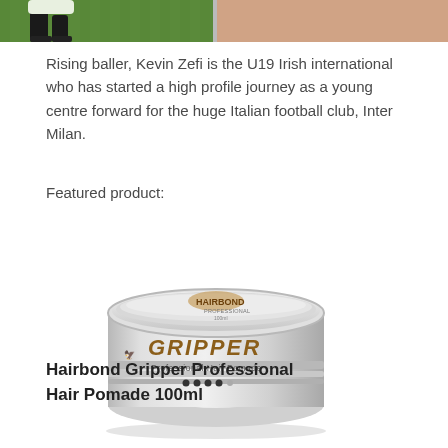[Figure (photo): Top portion of a photo showing a football player on a green pitch on the left side, and a person in a light-coloured top on the right side.]
Rising baller, Kevin Zefi is the U19 Irish international who has started a high profile journey as a young centre forward for the huge Italian football club, Inter Milan.
Featured product:
[Figure (photo): Hairbond Gripper Professional Hair Pomade 100ml product jar — a round clear/silver jar with a chrome lid displaying the Hairbond eagle logo and the word GRIPPER on the side in gold lettering, along with the text 'Professional Hair Pomade'.]
Hairbond Gripper Professional Hair Pomade 100ml